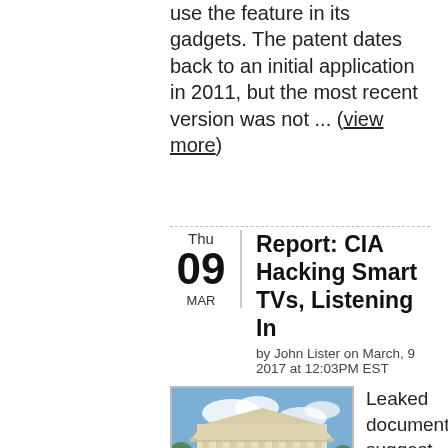use the feature in its gadgets. The patent dates back to an initial application in 2011, but the most recent version was not ... (view more)
Report: CIA Hacking Smart TVs, Listening In
by John Lister on March, 9 2017 at 12:03PM EST
[Figure (photo): Photo of a large government building with columns, resembling the US Supreme Court, with blue sky and some clouds.]
Leaked documents suggest the CIA has a program for spying on people through home devices such as Smart TVs. However, it appears such attacks are highly targeted